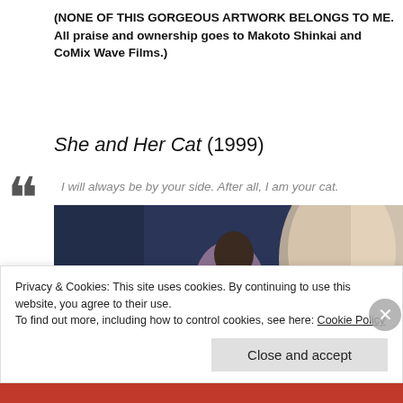(NONE OF THIS GORGEOUS ARTWORK BELONGS TO ME. All praise and ownership goes to Makoto Shinkai and CoMix Wave Films.)
She and Her Cat (1999)
I will always be by your side. After all, I am your cat.
[Figure (illustration): Anime still from She and Her Cat (1999) showing a young woman with dark hair leaning over a white cat, background with blue and warm orange tones]
Privacy & Cookies: This site uses cookies. By continuing to use this website, you agree to their use.
To find out more, including how to control cookies, see here: Cookie Policy
Close and accept